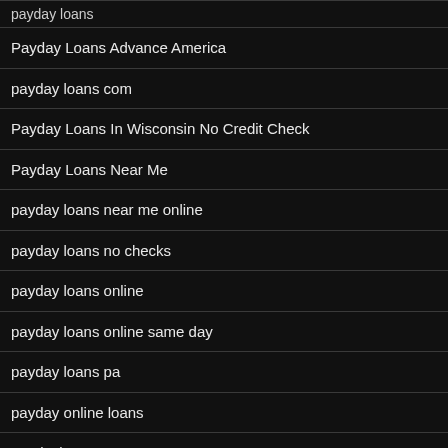payday loans
Payday Loans Advance America
payday loans com
Payday Loans In Wisconsin No Credit Check
Payday Loans Near Me
payday loans near me online
payday loans no checks
payday loans online
payday loans online same day
payday loans pa
payday online loans
paydayloan
paydayloan online